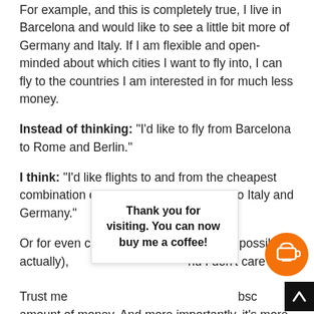For example, and this is completely true, I live in Barcelona and would like to see a little bit more of Germany and Italy. If I am flexible and open-minded about which cities I want to fly into, I can fly to the countries I am interested in for much less money.
Instead of thinking: "I'd like to fly from Barcelona to Rome and Berlin."
I think: "I'd like flights to and from the cheapest combination of airports from Barcelona to Italy and Germany."
Or for even cheaper flight (the cheapest possible, actually), ... nd I don't care whe... Trust me ... bsc... amount of money. And more importantly, it's more
Thank you for visiting. You can now buy me a coffee!